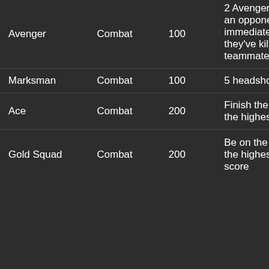| Name | Type | Points | Condition |
| --- | --- | --- | --- |
| Avenger | Combat | 100 | 2 Avenger Kills (killing an opponent immediately after they've killed a teammate) |
| Marksman | Combat | 100 | 5 headshots |
| Ace | Combat | 200 | Finish the round with the highest score |
| Gold Squad | Combat | 200 | Be on the squad with the highest combined score |